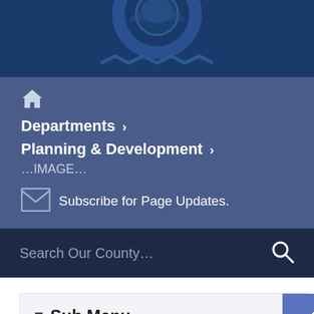[Figure (logo): County government logo/seal with gear/cog design on dark navy blue background]
🏠 (home icon)
Departments ›
Planning & Development ›
…IMAGE…
Subscribe for Page Updates.
Search Our County…
≡ Sub Menu